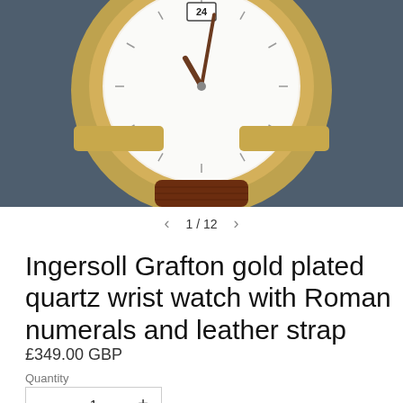[Figure (photo): Close-up photo of an Ingersoll Grafton gold plated quartz wrist watch with white dial showing Roman numerals, brown leather strap, and date display showing 24, set against a dark grey background.]
1 / 12
Ingersoll Grafton gold plated quartz wrist watch with Roman numerals and leather strap
£349.00 GBP
Quantity
1